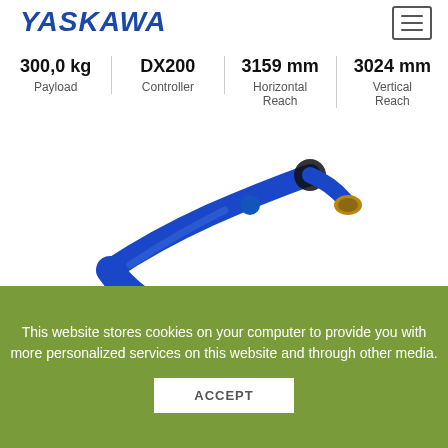YASKAWA
300,0 kg Payload | DX200 Controller | 3159 mm Horizontal Reach | 3024 mm Vertical Reach
[Figure (photo): Blue Yaskawa industrial robot arm shown at an angle against a white background]
This website stores cookies on your computer to provide you with more personalized services on this website and through other media.
ACCEPT